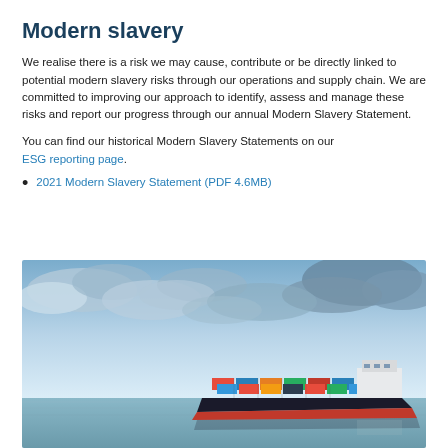Modern slavery
We realise there is a risk we may cause, contribute or be directly linked to potential modern slavery risks through our operations and supply chain. We are committed to improving our approach to identify, assess and manage these risks and report our progress through our annual Modern Slavery Statement.
You can find our historical Modern Slavery Statements on our ESG reporting page.
2021 Modern Slavery Statement (PDF 4.6MB)
[Figure (photo): A large container ship loaded with colorful shipping containers sailing on calm water under a dramatic cloudy sky.]